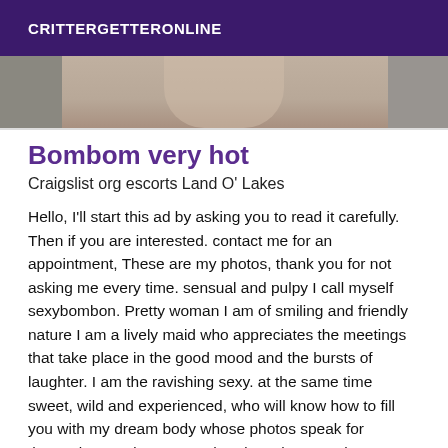CRITTERGETTERONLINE
[Figure (photo): Partial photo strip showing a person in grey clothing, cropped to show shoulders and lower face area]
Bombom very hot
Craigslist org escorts Land O' Lakes
Hello, I'll start this ad by asking you to read it carefully. Then if you are interested. contact me for an appointment, These are my photos, thank you for not asking me every time. sensual and pulpy I call myself sexybombon. Pretty woman I am of smiling and friendly nature I am a lively maid who appreciates the meetings that take place in the good mood and the bursts of laughter. I am the ravishing sexy. at the same time sweet, wild and experienced, who will know how to fill you with my dream body whose photos speak for themselves and my expert hands. I always welcome you with a smile. In all discretion in a luxury apartment. Where a shower is at your disposal. Located in a private